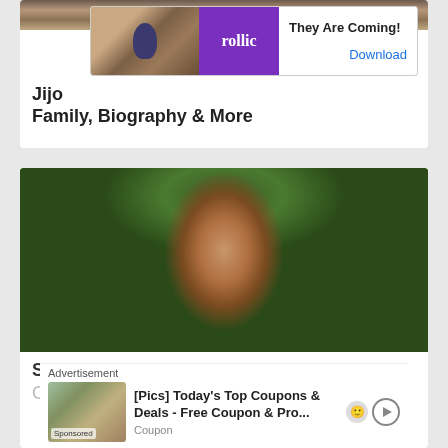[Figure (photo): Cropped top of a person's head/hair visible at the very top of the page]
[Figure (screenshot): Advertisement banner for Rollic game app - 'They Are Coming!' with Download button]
Jijo... Family, Biography & More
[Figure (photo): Portrait photo of Shaman Mithru, a young Indian man with short dark hair and mustache, wearing casual clothes, with green trees in background]
Shaman Mithru Wiki, Age, Death, Wife, Children, Family, Biography & More
[Figure (screenshot): Advertisement overlay: '[Pics] Today's Top Coupons & Deals - Free Coupon & Pro...' with Sponsored label and Coupon text]